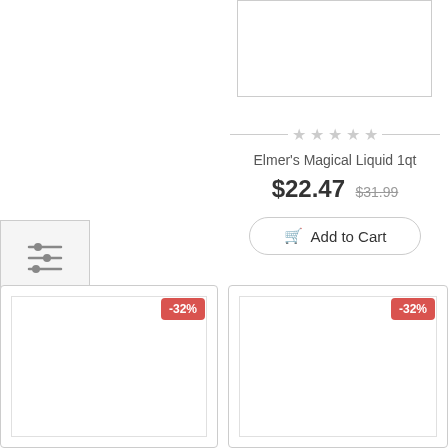[Figure (screenshot): Product image placeholder (partially visible at top)]
[Figure (other): 5-star rating row with gray stars and horizontal lines]
Elmer's Magical Liquid 1qt
$22.47 $31.99
Add to Cart
[Figure (other): Filter/adjustments icon button]
[Figure (other): Product card left with -32% badge]
[Figure (other): Product card right with -32% badge]